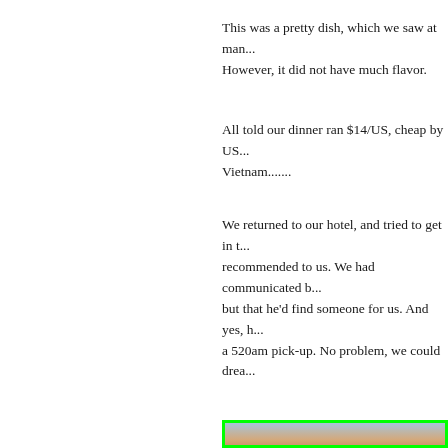This was a pretty dish, which we saw at man... However, it did not have much flavor.
All told our dinner ran $14/US, cheap by US... Vietnam.......
We returned to our hotel, and tried to get in t... recommended to us. We had communicated b... but that he'd find someone for us. And yes, h... a 520am pick-up. No problem, we could drea...
[Figure (photo): Photograph of Angkor Wat temple silhouette at sunrise/sunset with palm trees and colorful sky with clouds]